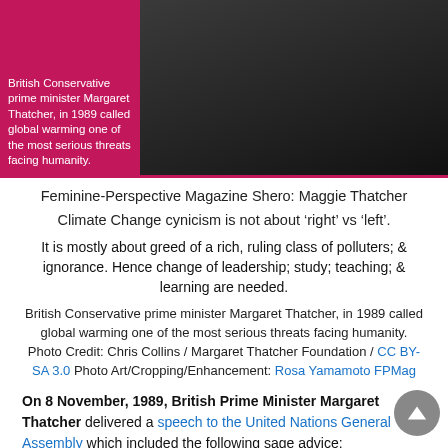[Figure (photo): Photo of Margaret Thatcher in a dark blazer with pearl necklace and brooch, with a pink overlay caption box on the left side reading: 'British Conservative prime minister Margaret Thatcher, in 1989 called global warming one of the most serious threats facing humanity.']
Feminine-Perspective Magazine Shero: Maggie Thatcher
Climate Change cynicism is not about ‘right’ vs ‘left’.
It is mostly about greed of a rich, ruling class of polluters; & ignorance. Hence change of leadership; study; teaching; & learning are needed.
British Conservative prime minister Margaret Thatcher, in 1989 called global warming one of the most serious threats facing humanity. Photo Credit: Chris Collins / Margaret Thatcher Foundation / CC BY-SA 3.0 Photo Art/Cropping/Enhancement: Rosa Yamamoto FPMag
On 8 November, 1989, British Prime Minister Margaret Thatcher delivered a speech to the United Nations General Assembly which included the following sage advice: